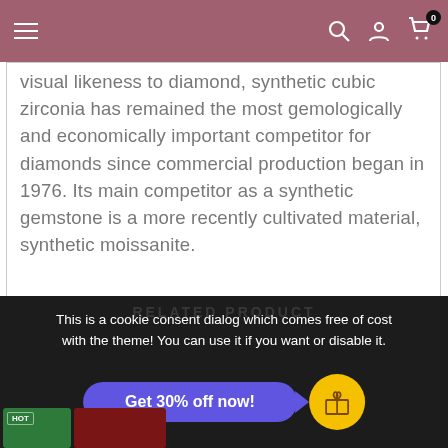Navigation bar with hamburger menu, search, account, and cart icons
visual likeness to diamond, synthetic cubic zirconia has remained the most gemologically and economically important competitor for diamonds since commercial production began in 1976. Its main competitor as a synthetic gemstone is a more recently cultivated material, synthetic moissanite.
RELATED PRODUCT
This is a cookie consent dialog which comes free of cost with the theme! You can use it if you want or disable it.
Get 30% off now!